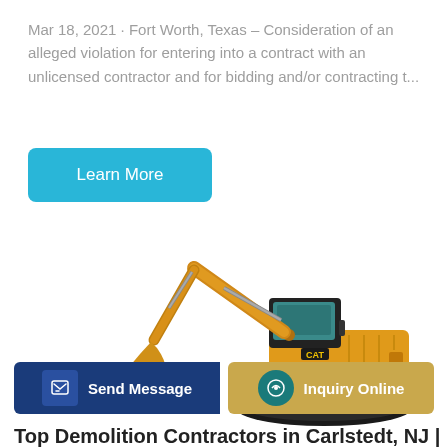Mar 18, 2021 · Fort Worth, Texas – Consideration of an alleged violation for entering into a contract with an unlicensed contractor and for bidding and/or contracting t...
[Figure (other): Blue rounded rectangle button labeled 'Learn More' in white text]
[Figure (photo): Yellow CAT excavator on white background, side view showing full machine with arm extended]
[Figure (other): Two buttons: dark blue 'Send Message' button with pencil icon on the left, and gold/tan 'Inquiry Online' button with headset icon on the right]
Top Demolition Contractors in Carlstedt, NJ |...